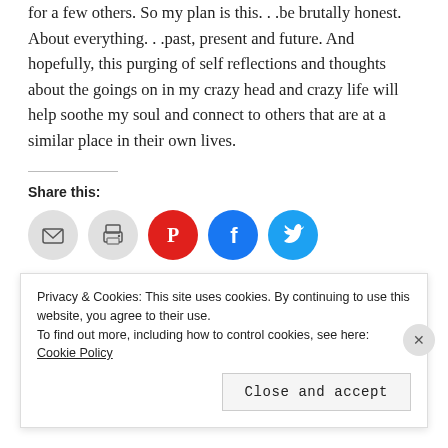for a few others.  So my plan is this...be brutally honest. About everything...past, present and future.  And hopefully, this purging of self reflections and thoughts about the goings on in my crazy head and crazy life will help soothe my soul and connect to others that are at a similar place in their own lives.
Share this:
[Figure (infographic): Row of five circular social sharing buttons: email (grey), print (grey), Pinterest (red), Facebook (blue), Twitter (light blue)]
Loading...
Privacy & Cookies: This site uses cookies. By continuing to use this website, you agree to their use. To find out more, including how to control cookies, see here: Cookie Policy
Close and accept